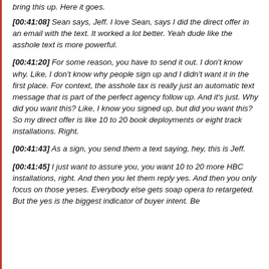bring this up. Here it goes.
[00:41:08] Sean says, Jeff. I love Sean, says I did the direct offer in an email with the text. It worked a lot better. Yeah dude like the asshole text is more powerful.
[00:41:20] For some reason, you have to send it out. I don't know why. Like, I don't know why people sign up and I didn't want it in the first place. For context, the asshole tax is really just an automatic text message that is part of the perfect agency follow up. And it's just. Why did you want this? Like, I know you signed up, but did you want this? So my direct offer is like 10 to 20 book deployments or eight track installations. Right.
[00:41:43] As a sign, you send them a text saying, hey, this is Jeff.
[00:41:45] I just want to assure you, you want 10 to 20 more HBC installations, right. And then you let them reply yes. And then you only focus on those yeses. Everybody else gets soap opera to retargeted. But the yes is the biggest indicator of buyer intent. Be